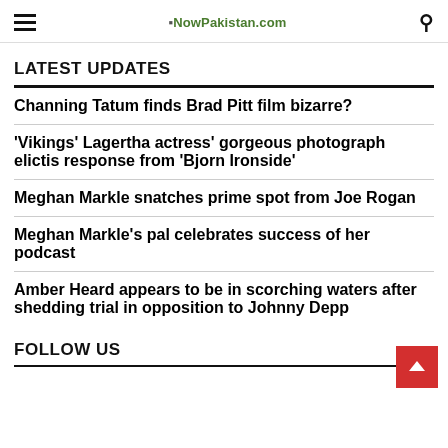NowPakistan.com
LATEST UPDATES
Channing Tatum finds Brad Pitt film bizarre?
'Vikings' Lagertha actress' gorgeous photograph elictis response from 'Bjorn Ironside'
Meghan Markle snatches prime spot from Joe Rogan
Meghan Markle's pal celebrates success of her podcast
Amber Heard appears to be in scorching waters after shedding trial in opposition to Johnny Depp
FOLLOW US